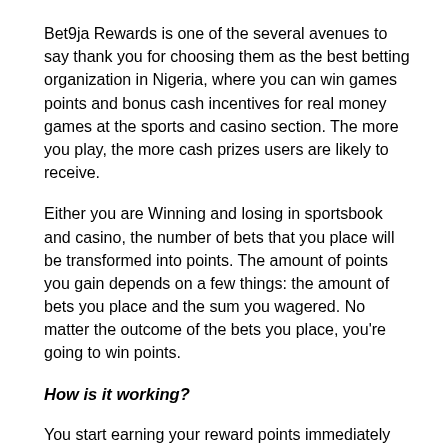Bet9ja Rewards is one of the several avenues to say thank you for choosing them as the best betting organization in Nigeria, where you can win games points and bonus cash incentives for real money games at the sports and casino section. The more you play, the more cash prizes users are likely to receive.
Either you are Winning and losing in sportsbook and casino, the number of bets that you place will be transformed into points. The amount of points you gain depends on a few things: the amount of bets you place and the sum you wagered. No matter the outcome of the bets you place, you're going to win points.
How is it working?
You start earning your reward points immediately you wager your first qualifying bet. Bet9ja Rewards has two aspects:
Building your rank.
Achieving rewards.
Both factors work with one another, where the greater you're